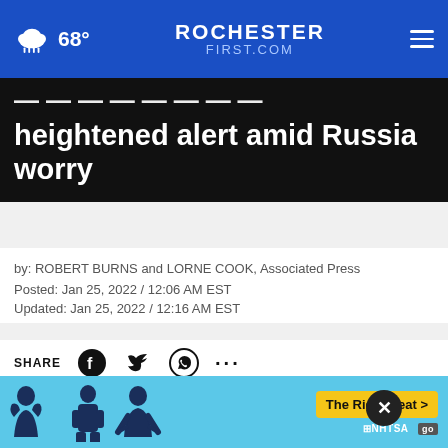ROCHESTER FIRST.COM — 68°
heightened alert amid Russia worry
by: ROBERT BURNS and LORNE COOK, Associated Press
Posted: Jan 25, 2022 / 12:06 AM EST
Updated: Jan 25, 2022 / 12:16 AM EST
SHARE
This is an archived article and the information in the article may be outdated. Please look at the time stamp on the story to see when it was last updated.
WASH...00 troops on higher alert to potentially deploy to Europe